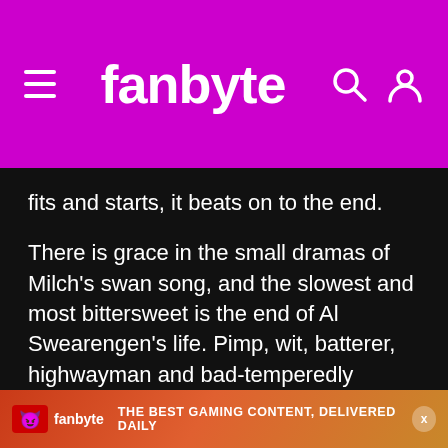fanbyte
fits and starts, it beats on to the end.
There is grace in the small dramas of Milch's swan song, and the slowest and most bittersweet is the end of Al Swearengen's life. Pimp, wit, batterer, highwayman and bad-temperedly generous pillar of the community, Al was the show's storm center for its entire three-season run. At the movie's start he's sweating and waxy-skinned, his fireplug vitality replaced by loose skin, wasted hands, and cloudy eyes. There's still
[Figure (screenshot): Fanbyte advertisement banner: orange/red gradient background with fanbyte logo and text 'THE BEST GAMING CONTENT, DELIVERED DAILY']